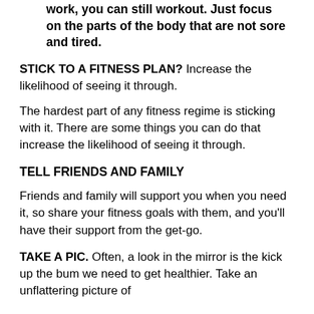work, you can still workout. Just focus on the parts of the body that are not sore and tired.
STICK TO A FITNESS PLAN? Increase the likelihood of seeing it through.
The hardest part of any fitness regime is sticking with it. There are some things you can do that increase the likelihood of seeing it through.
TELL FRIENDS AND FAMILY
Friends and family will support you when you need it, so share your fitness goals with them, and you'll have their support from the get-go.
TAKE A PIC. Often, a look in the mirror is the kick up the bum we need to get healthier. Take an unflattering picture of yourself and look at it regularly. This will serve as a form of